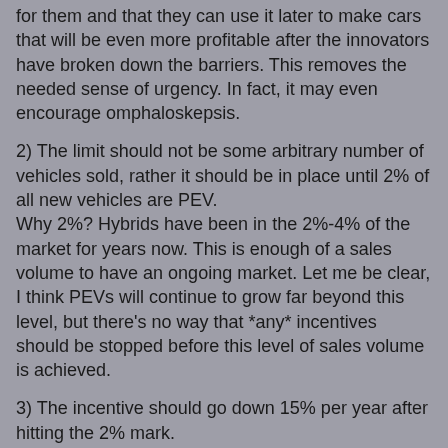for them and that they can use it later to make cars that will be even more profitable after the innovators have broken down the barriers. This removes the needed sense of urgency. In fact, it may even encourage omphaloskepsis.
2) The limit should not be some arbitrary number of vehicles sold, rather it should be in place until 2% of all new vehicles are PEV. Why 2%? Hybrids have been in the 2%-4% of the market for years now. This is enough of a sales volume to have an ongoing market. Let me be clear, I think PEVs will continue to grow far beyond this level, but there's no way that *any* incentives should be stopped before this level of sales volume is achieved.
3) The incentive should go down 15% per year after hitting the 2% mark. The current system has a 50% reduction. That is a big drop. Under the current system, if you miss an end of quarter delivery date by a day, it could cost you $3,750. Smaller steps at an annual rate is a smooth transition (soft landing) to the incentive-free market.